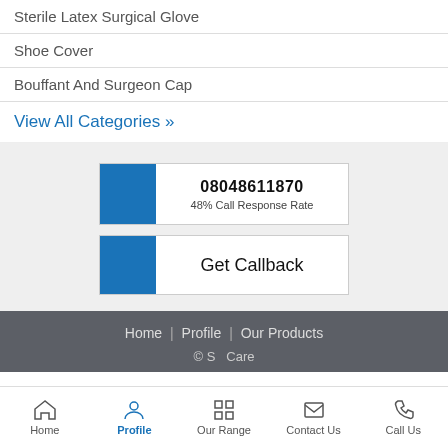Sterile Latex Surgical Glove
Shoe Cover
Bouffant And Surgeon Cap
View All Categories »
08048611870
48% Call Response Rate
Get Callback
Home | Profile | Our Products
© S Care
Home  Profile  Our Range  Contact Us  Call Us